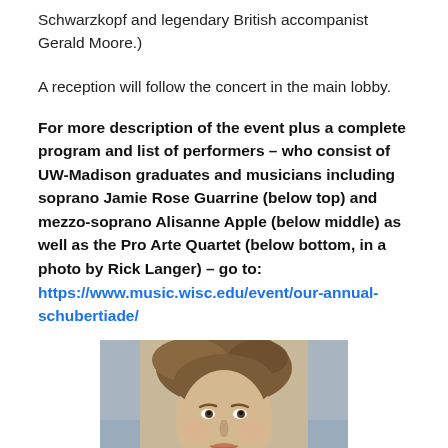Schwarzkopf and legendary British accompanist Gerald Moore.)
A reception will follow the concert in the main lobby.
For more description of the event plus a complete program and list of performers – who consist of UW-Madison graduates and musicians including soprano Jamie Rose Guarrine (below top) and mezzo-soprano Alisanne Apple (below middle) as well as the Pro Arte Quartet (below bottom, in a photo by Rick Langer) – go to: https://www.music.wisc.edu/event/our-annual-schubertiade/
[Figure (photo): Portrait photo of a young woman with upswept hair, cropped from approximately shoulders up, with a blurred background.]